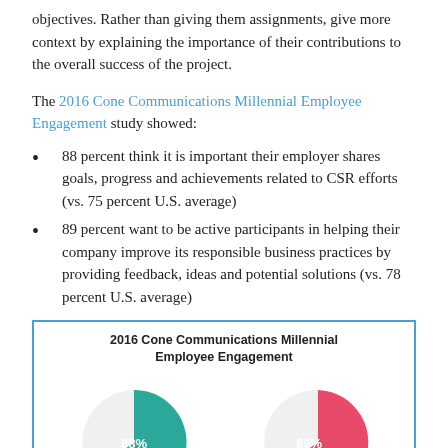objectives. Rather than giving them assignments, give more context by explaining the importance of their contributions to the overall success of the project.
The 2016 Cone Communications Millennial Employee Engagement study showed:
88 percent think it is important their employer shares goals, progress and achievements related to CSR efforts (vs. 75 percent U.S. average)
89 percent want to be active participants in helping their company improve its responsible business practices by providing feedback, ideas and potential solutions (vs. 78 percent U.S. average)
[Figure (pie-chart): 2016 Cone Communications Millennial Employee Engagement]